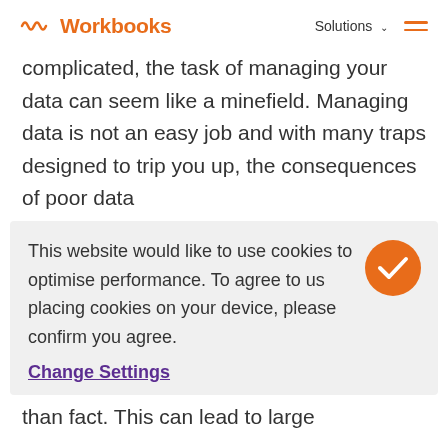Workbooks | Solutions
complicated, the task of managing your data can seem like a minefield. Managing data is not an easy job and with many traps designed to trip you up, the consequences of poor data
This website would like to use cookies to optimise performance. To agree to us placing cookies on your device, please confirm you agree.
Change Settings
than fact. This can lead to large